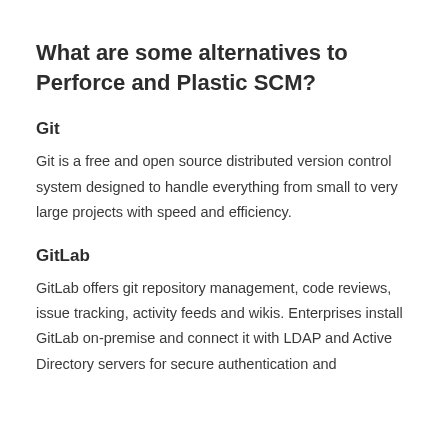What are some alternatives to Perforce and Plastic SCM?
Git
Git is a free and open source distributed version control system designed to handle everything from small to very large projects with speed and efficiency.
GitLab
GitLab offers git repository management, code reviews, issue tracking, activity feeds and wikis. Enterprises install GitLab on-premise and connect it with LDAP and Active Directory servers for secure authentication and